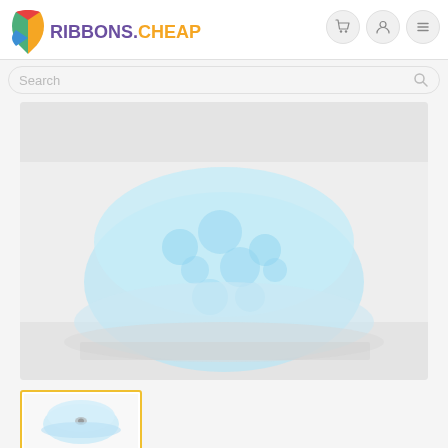[Figure (logo): Ribbons.cheap logo with colorful ribbon icon and text]
[Figure (screenshot): Navigation icons: cart, user account, and menu hamburger buttons]
[Figure (screenshot): Search bar with placeholder text 'Search' and search icon]
[Figure (photo): Main product image showing a blurred light blue dotted/patterned ribbon spool on gray background]
[Figure (photo): Thumbnail image showing a small spool of light blue ribbon, selected with yellow border]